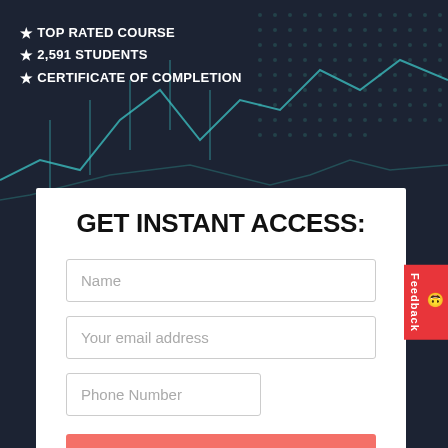★ TOP RATED COURSE
★ 2,591 STUDENTS
★ CERTIFICATE OF COMPLETION
GET INSTANT ACCESS:
Name
Your email address
Phone Number
➜ SIGN UP FOR FREE CLASS